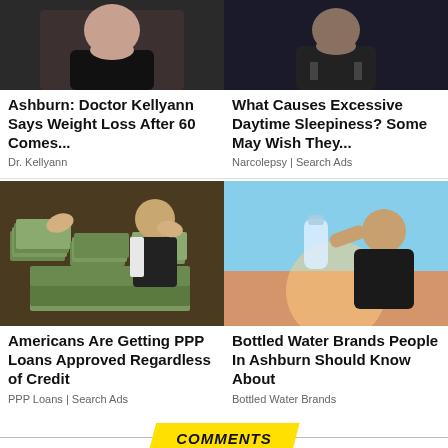[Figure (photo): Photo of a woman reclining on a couch, wearing a black top]
[Figure (photo): Photo of a man in dark clothing sitting with arms crossed]
Ashburn: Doctor Kellyann Says Weight Loss After 60 Comes...
What Causes Excessive Daytime Sleepiness? Some May Wish They...
Dr. Kellyann
Narcolepsy | Search Ads
[Figure (photo): Photo of a man in a suit surrounded by stacks of dollar bills]
[Figure (photo): Photo of a woman drinking from a water bottle against a sunset background]
Americans Are Getting PPP Loans Approved Regardless of Credit
Bottled Water Brands People In Ashburn Should Know About
PPP Loans | Search Ads
Bottled Water Brands
COMMENTS